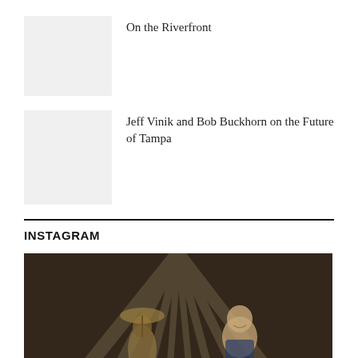On the Riverfront
[Figure (photo): Thumbnail placeholder image for On the Riverfront article]
Jeff Vinik and Bob Buckhorn on the Future of Tampa
[Figure (photo): Thumbnail placeholder image for Jeff Vinik and Bob Buckhorn article]
INSTAGRAM
[Figure (photo): Dark Instagram photo showing a person with an umbrella statue and a smiling man, with dramatic light rays in the background]